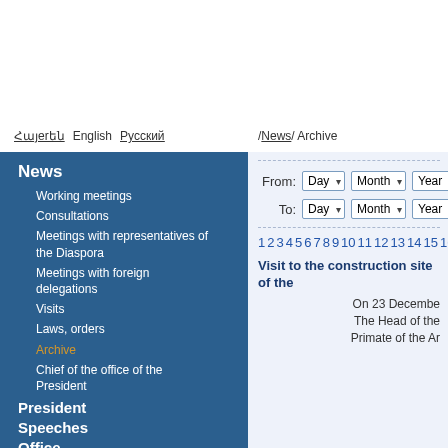Հայerեն  English  Русский   / News / Archive
News
Working meetings
Consultations
Meetings with representatives of the Diaspora
Meetings with foreign delegations
Visits
Laws, orders
Archive
Chief of the office of the President
President
Speeches
Office
NKR
From: Day  Month  Year
To: Day  Month  Year
1 2 3 4 5 6 7 8 9 10 11 12 13 14 15 16
Visit to the construction site of the
On 23 Decembe The Head of the Primate of the Ar